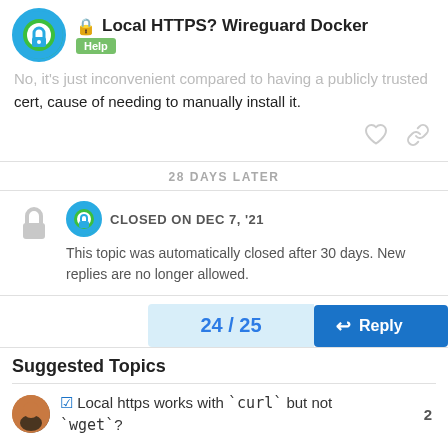Local HTTPS? Wireguard Docker — Help
No, it's just inconvenient compared to having a publicly trusted cert, cause of needing to manually install it.
28 DAYS LATER
CLOSED ON DEC 7, '21
This topic was automatically closed after 30 days. New replies are no longer allowed.
24 / 25
Reply
Suggested Topics
Local https works with `curl` but not `wget`?
2